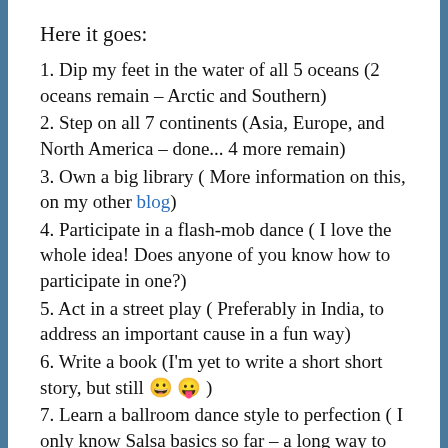Here it goes:
1. Dip my feet in the water of all 5 oceans (2 oceans remain – Arctic and Southern)
2. Step on all 7 continents (Asia, Europe, and North America – done... 4 more remain)
3. Own a big library ( More information on this, on my other blog)
4. Participate in a flash-mob dance ( I love the whole idea! Does anyone of you know how to participate in one?)
5. Act in a street play ( Preferably in India, to address an important cause in a fun way)
6. Write a book (I'm yet to write a short short story, but still 😀 😛 )
7. Learn a ballroom dance style to perfection ( I only know Salsa basics so far – a long way to go!)
8. Travel to all states of India ( Only 12 done, so far)